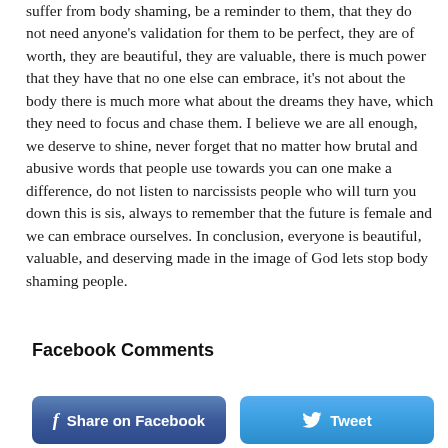suffer from body shaming, be a reminder to them, that they do not need anyone's validation for them to be perfect, they are of worth, they are beautiful, they are valuable, there is much power that they have that no one else can embrace, it's not about the body there is much more what about the dreams they have, which they need to focus and chase them. I believe we are all enough, we deserve to shine, never forget that no matter how brutal and abusive words that people use towards you can one make a difference, do not listen to narcissists people who will turn you down this is sis, always to remember that the future is female and we can embrace ourselves. In conclusion, everyone is beautiful, valuable, and deserving made in the image of God lets stop body shaming people.
Facebook Comments
[Figure (other): Two social sharing buttons: 'Share on Facebook' (blue, with Facebook f icon) and 'Tweet' (light blue, with Twitter bird icon)]